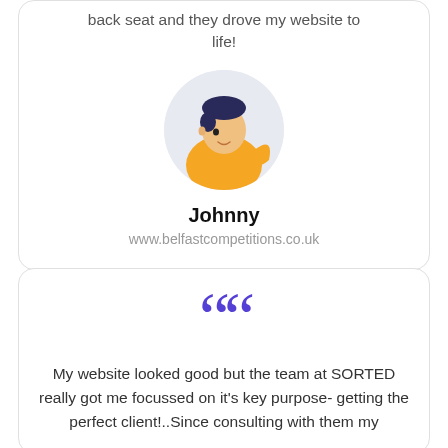back seat and they drove my website to life!
[Figure (illustration): Circular avatar illustration of a young man with dark hair wearing a yellow/orange outfit, on a light blue-grey background.]
Johnny
www.belfastcompetitions.co.uk
““
My website looked good but the team at SORTED really got me focussed on it's key purpose- getting the perfect client!..Since consulting with them my